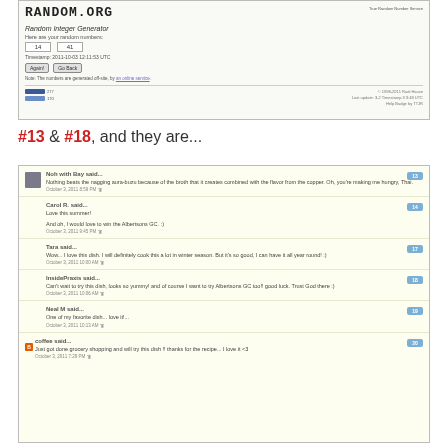[Figure (screenshot): Screenshot of RANDOM.ORG Random Integer Generator website showing numbers 14 and 41 generated, with timestamp, Again/Go Back buttons, and social sharing buttons]
#13 & #18, and they are...
[Figure (screenshot): Screenshot of blog comments section showing multiple numbered comments from users: Noh with Bay said..., Carol R. said..., Tara said..., InsidePraxis said..., Neal M said..., coffee said...]